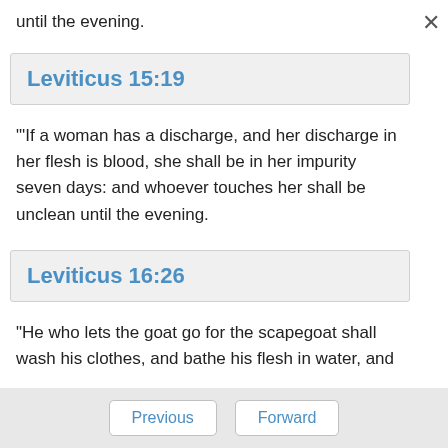until the evening.
Leviticus 15:19
"'If a woman has a discharge, and her discharge in her flesh is blood, she shall be in her impurity seven days: and whoever touches her shall be unclean until the evening.
Leviticus 16:26
"He who lets the goat go for the scapegoat shall wash his clothes, and bathe his flesh in water, and
Previous   Forward